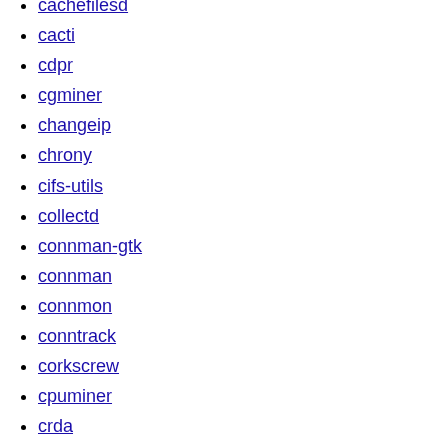cachefilesd
cacti
cdpr
cgminer
changeip
chrony
cifs-utils
collectd
connman-gtk
connman
connmon
conntrack
corkscrew
cpuminer
crda
dante
darkstat
ddclient
dhcdbd
dhcp
dhcpcd
diald
dictd
djbdns
dnrd